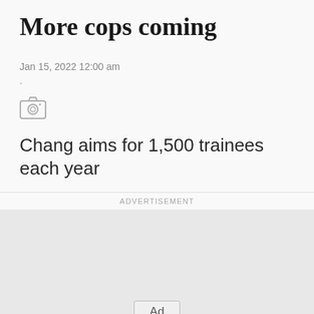More cops coming
Jan 15, 2022 12:00 am
.
[Figure (illustration): Camera icon representing photo gallery or image placeholder]
Chang aims for 1,500 trainees each year
ADVERTISEMENT
[Figure (other): Advertisement placeholder box with 'Ad' button label]